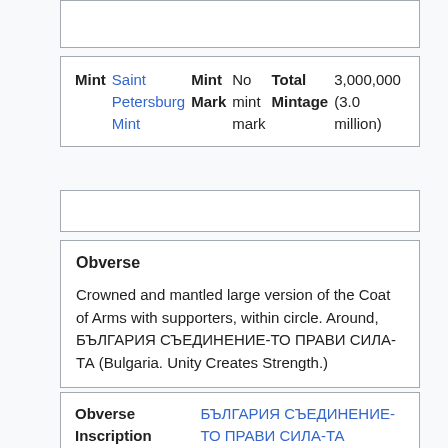| Mint | Mint Mark | Total Mintage |
| --- | --- | --- |
| Saint Petersburg Mint | No mint mark | 3,000,000 (3.0 million) |
Obverse
Crowned and mantled large version of the Coat of Arms with supporters, within circle. Around, БЪЛГАРИЯ СЪЕДИНЕНИЕ-ТО ПРАВИ СИЛА-ТА (Bulgaria. Unity Creates Strength.)
| Obverse Inscription |  |
| --- | --- |
| Obverse Inscription | БЪЛГАРИЯ СЪЕДИНЕНИЕ-ТО ПРАВИ СИЛА-ТА |
Reverse